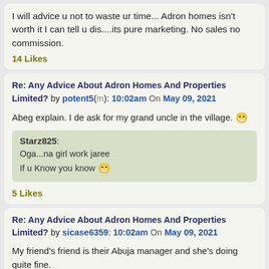I will advice u not to waste ur time... Adron homes isn't worth it I can tell u dis....its pure marketing. No sales no commission.
14 Likes
Re: Any Advice About Adron Homes And Properties Limited? by potent5(m): 10:02am On May 09, 2021
Abeg explain. I de ask for my grand uncle in the village. 😁
Starz825:
Oga...na girl work jaree
If u Know you know 😁
5 Likes
Re: Any Advice About Adron Homes And Properties Limited? by sicase6359: 10:02am On May 09, 2021
My friend's friend is their Abuja manager and she's doing quite fine.
They are a good company that is why they have grown rapidly in a very short time.